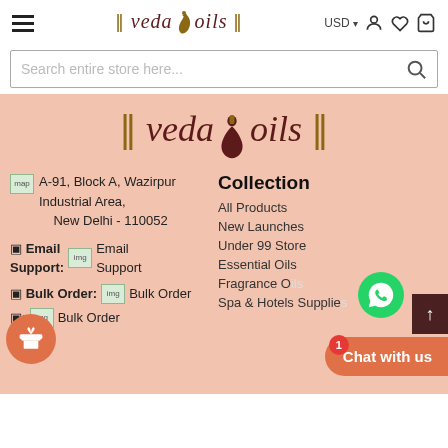VedaOils - USD - navigation header with hamburger menu, currency selector, user icon, wishlist icon, cart icon
Search entire store here...
[Figure (logo): VedaOils logo in large dark red italic serif font with golden decorative double-bar borders and a Ganesha/lamp motif]
A-91, Block A, Wazirpur Industrial Area, New Delhi - 110052
Email Support:  [Email Support image]
Bulk Order:  [Bulk Order image]
[Bulk Order image]
Collection
All Products
New Launches
Under 99 Store
Essential Oils
Fragrance O[ils]
Spa & Hotels Supplie[s]